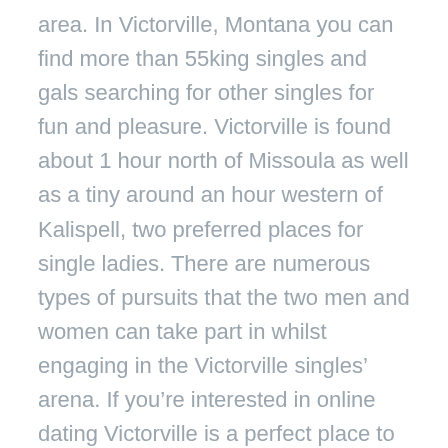area. In Victorville, Montana you can find more than 55king singles and gals searching for other singles for fun and pleasure. Victorville is found about 1 hour north of Missoula as well as a tiny around an hour western of Kalispell, two preferred places for single ladies. There are numerous types of pursuits that the two men and women can take part in whilst engaging in the Victorville singles' arena. If you're interested in online dating Victorville is a perfect place to start, Victorville is truly a town that has something to offer everyone.
. With over 500,000 listed Victorville singles there exists guaranteed to be somebody to love in Victorville. Victorville has lots of respected and recognized on-line dating sites readily available. These sites provide